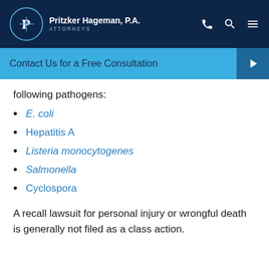Pritzker Hageman, P.A. ATTORNEYS
Contact Us for a Free Consultation →
following pathogens:
E. coli
Hepatitis A
Listeria monocytogenes
Salmonella
Cyclospora
A recall lawsuit for personal injury or wrongful death is generally not filed as a class action.